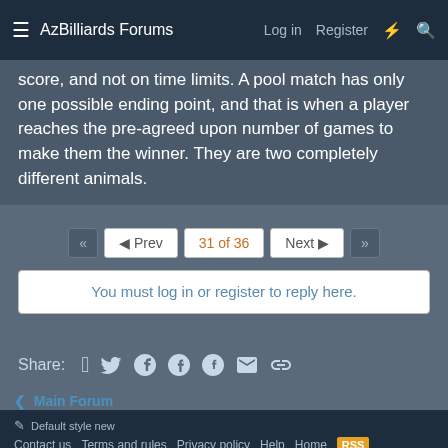AzBilliards Forums | Log in | Register
score, and not on time limits. A pool match has only one possible ending point, and that is when a player reaches the pre-agreed upon number of games to make them the winner. They are two completely different animals.
◄◄  ◄ Prev  31 of 36  Next ►  ►►
You must log in or register to reply here.
Share:
< Main Forum
✎ Default style new
Contact us  Terms and rules  Privacy policy  Help  Home  RSS
Community platform by XenForo® © 2010-2021 XenForo Ltd. Website is using Ultimate News Ticker created by StylesFactory | Add-ons by ThemeHouse